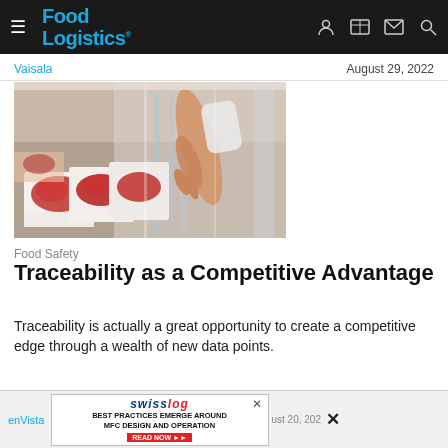Food Logistics
Vaisala	August 29, 2022
[Figure (photo): Person selecting packaged meat products from a refrigerated display case in a supermarket]
Food Safety
Traceability as a Competitive Advantage
Traceability is actually a great opportunity to create a competitive edge through a wealth of new data points.
enVista   swisslog BEST PRACTICES EMERGE AROUND MFC DESIGN AND OPERATION READ NOW >>   ust 20, 202